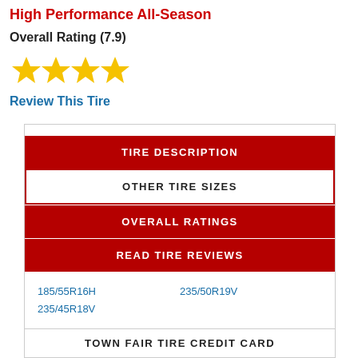High Performance All-Season
Overall Rating (7.9)
[Figure (other): 4 gold/yellow star icons representing the rating]
Review This Tire
| TIRE DESCRIPTION |
| OTHER TIRE SIZES |
| OVERALL RATINGS |
| READ TIRE REVIEWS |
| 185/55R16H | 235/50R19V |
| 235/45R18V |  |
TOWN FAIR TIRE CREDIT CARD